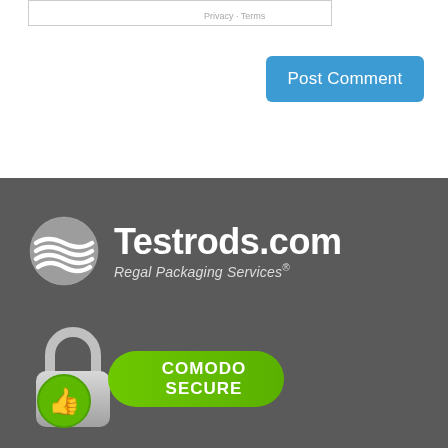Privacy · Terms
Post Comment
[Figure (logo): Testrods.com Regal Packaging Services® logo with globe icon on dark grey background]
[Figure (logo): Comodo Secure badge with padlock and green thumbs-up icon]